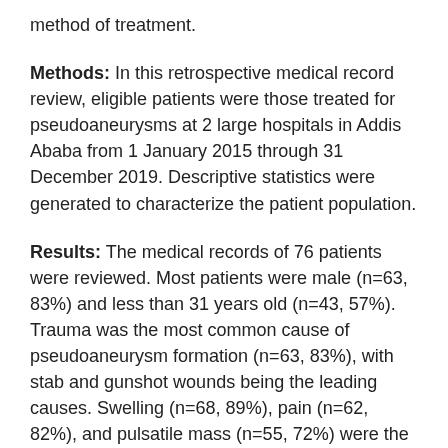method of treatment.
Methods: In this retrospective medical record review, eligible patients were those treated for pseudoaneurysms at 2 large hospitals in Addis Ababa from 1 January 2015 through 31 December 2019. Descriptive statistics were generated to characterize the patient population.
Results: The medical records of 76 patients were reviewed. Most patients were male (n=63, 83%) and less than 31 years old (n=43, 57%). Trauma was the most common cause of pseudoaneurysm formation (n=63, 83%), with stab and gunshot wounds being the leading causes. Swelling (n=68, 89%), pain (n=62, 82%), and pulsatile mass (n=55, 72%) were the leading presenting symptoms. The most common vessel affected by pseudoaneurysm formation was the superficial femoral artery. All patients underwent open surgical repair; interposition grafting was performed for 24 patients (32%).